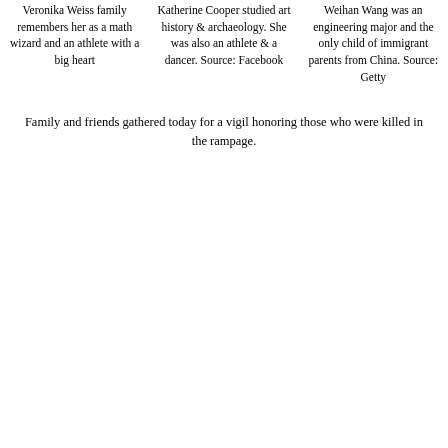Veronika Weiss family remembers her as a math wizard and an athlete with a big heart
Katherine Cooper studied art history & archaeology. She was also an athlete & a dancer. Source: Facebook
Weihan Wang was an engineering major and the only child of immigrant parents from China. Source: Getty
Family and friends gathered today for a vigil honoring those who were killed in the rampage.